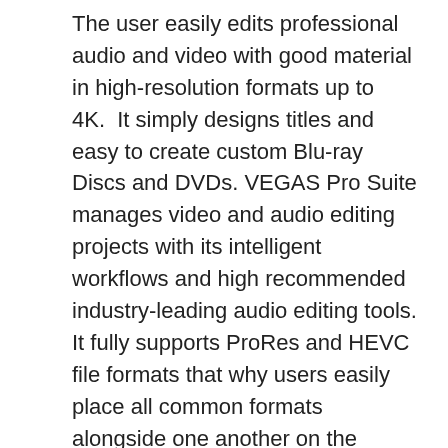The user easily edits professional audio and video with good material in high-resolution formats up to 4K.  It simply designs titles and easy to create custom Blu-ray Discs and DVDs. VEGAS Pro Suite manages video and audio editing projects with its intelligent workflows and high recommended industry-leading audio editing tools. It fully supports ProRes and HEVC file formats that why users easily place all common formats alongside one another on the timeline.
Sony Vegas Pro Serial Number can expand audio dispensation and addition options using third-party audio plug-in VST plugins With Go Pros is flattering ever additional plentiful and well-liked, so the call to combine clips, add audio, and generate a short but sugary video is rising.